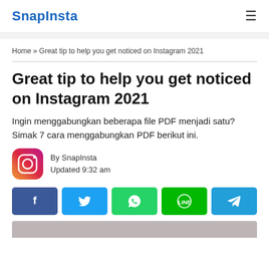SnapInsta
Home » Great tip to help you get noticed on Instagram 2021
Great tip to help you get noticed on Instagram 2021
Ingin menggabungkan beberapa file PDF menjadi satu? Simak 7 cara menggabungkan PDF berikut ini.
By SnapInsta
Updated 9:32 am
[Figure (infographic): Social share buttons: Facebook, Twitter, WhatsApp, LINE, Telegram]
[Figure (photo): Partial image visible at bottom of page]